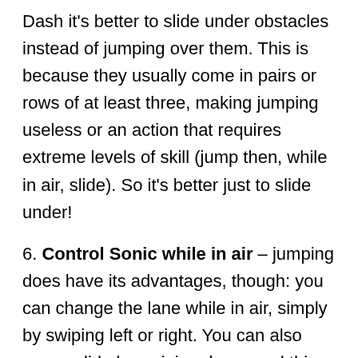Dash it's better to slide under obstacles instead of jumping over them. This is because they usually come in pairs or rows of at least three, making jumping useless or an action that requires extreme levels of skill (jump then, while in air, slide). So it's better just to slide under!
6. Control Sonic while in air – jumping does have its advantages, though: you can change the lane while in air, simply by swiping left or right. You can also power slide by swiping down, and this kills enemies below. Learn to master this as it will save your life and rings on multiple occasions!